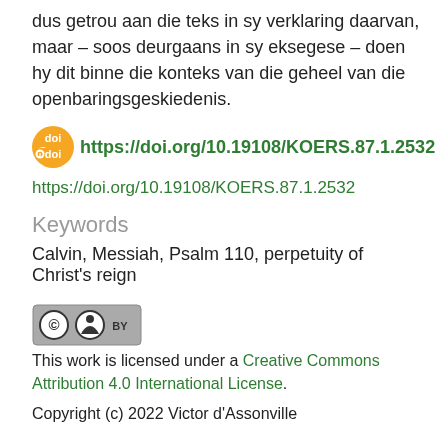dus getrou aan die teks in sy verklaring daarvan, maar – soos deurgaans in sy eksegese – doen hy dit binne die konteks van die geheel van die openbaringsgeskiedenis.
https://doi.org/10.19108/KOERS.87.1.2532
https://doi.org/10.19108/KOERS.87.1.2532
Keywords
Calvin, Messiah, Psalm 110, perpetuity of Christ's reign
[Figure (logo): Creative Commons CC BY license badge]
This work is licensed under a Creative Commons Attribution 4.0 International License.
Copyright (c) 2022 Victor d'Assonville